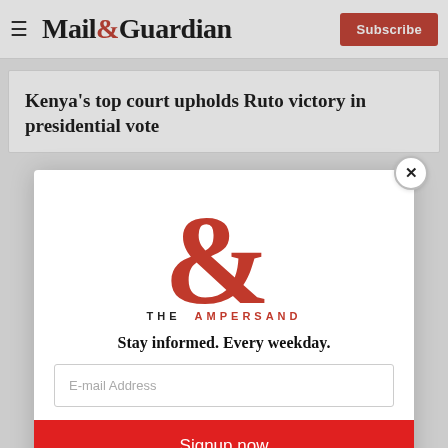Mail&Guardian — Subscribe
Kenya's top court upholds Ruto victory in presidential vote
[Figure (logo): The Ampersand newsletter logo — a large red ampersand with 'THE AMPERSAND' text]
Stay informed. Every weekday.
E-mail Address
Signup now